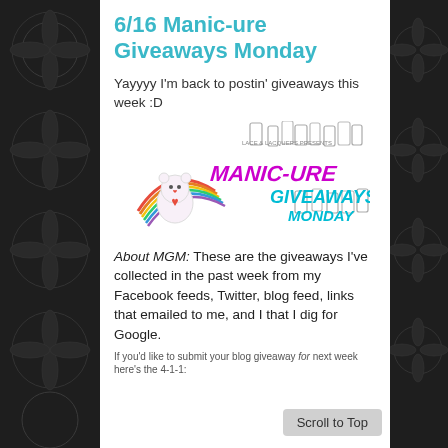6/16 Manic-ure Giveaways Monday
Yayyyy I'm back to postin' giveaways this week :D
[Figure (logo): Manic-ure Giveaways Monday logo with colorful lettering, nail polish bottles, and a care bear with rainbow]
About MGM: These are the giveaways I've collected in the past week from my Facebook feeds, Twitter, blog feed, links that emailed to me, and I that I dig for Google.
If you'd like to submit your blog giveaway for next week here's the 4-1-1: